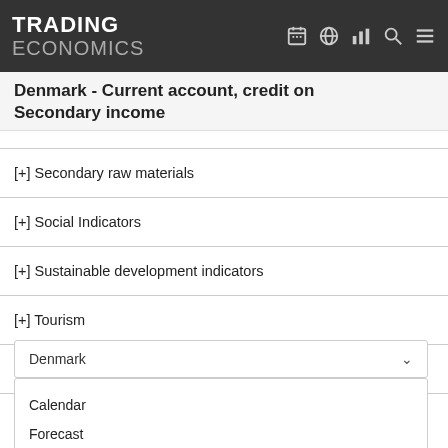TRADING ECONOMICS
Denmark - Current account, credit on Secondary income
[+] Secondary raw materials
[+] Social Indicators
[+] Sustainable development indicators
[+] Tourism
[+] Transport
Denmark
Calendar
Forecast
Indicators
News